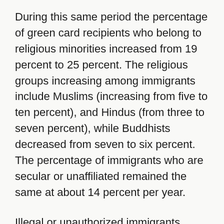During this same period the percentage of green card recipients who belong to religious minorities increased from 19 percent to 25 percent. The religious groups increasing among immigrants include Muslims (increasing from five to ten percent), and Hindus (from three to seven percent), while Buddhists decreased from seven to six percent. The percentage of immigrants who are secular or unaffiliated remained the same at about 14 percent per year.
Illegal or unauthorized immigrants remain largely Christian (at 83 percent), coming from Latin America and the Caribbean—a share that is slightly higher than the percentage of Christians in the U.S. population on the whole (about 80 percent as of 2012).